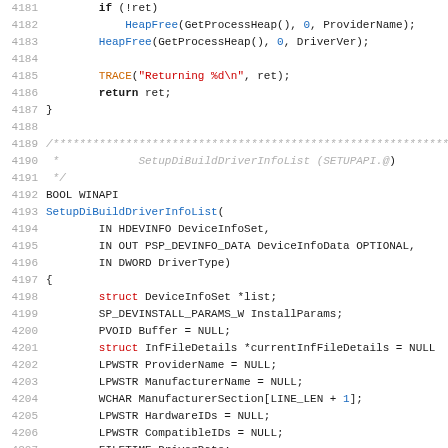[Figure (screenshot): Source code listing in C showing lines 4181-4212 of a Windows API implementation file. The code shows HeapFree calls, a TRACE macro, return statement, closing brace, comment block for SetupDiBuildDriverInfoList function, function signature with parameters, opening brace, and local variable declarations.]